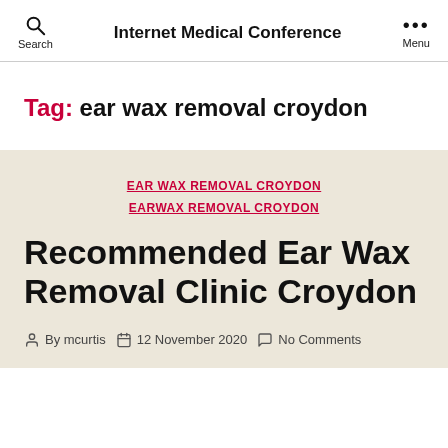Internet Medical Conference | Search | Menu
Tag: ear wax removal croydon
EAR WAX REMOVAL CROYDON
EARWAX REMOVAL CROYDON
Recommended Ear Wax Removal Clinic Croydon
By mcurtis | 12 November 2020 | No Comments